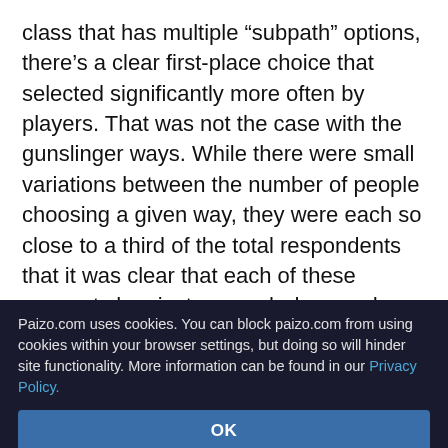class that has multiple “subpath” options, there’s a clear first-place choice that selected significantly more often by players. That was not the case with the gunslinger ways. While there were small variations between the number of people choosing a given way, they were each so close to a third of the total respondents that it was clear that each of these concepts has just as much draw and appeal as the others. As a result, it’s pretty likely that each of these ways will be present in the final release, though with some changes informed by the experiences from this playtest. A lot of the feedback we received also
Paizo.com uses cookies. You can block paizo.com from using cookies within your browser settings, but doing so will hinder site functionality. More information can be found in our Privacy Policy.
OK